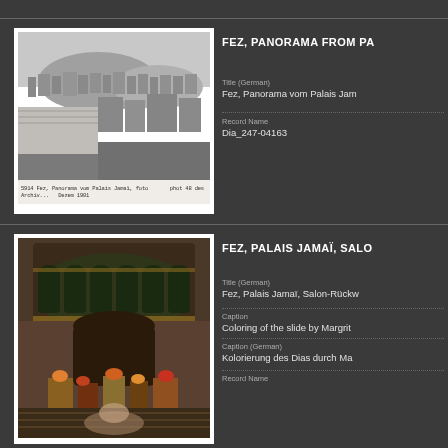[Figure (photo): Black and white panoramic photograph of Fez cityscape taken from Palais Jamaï, showing densely packed buildings and hills in background, with handwritten caption below.]
FEZ, PANORAMA FROM PA
Title (German)
Fez, Panorama vom Palais Jam
Record Name
Dia_247-04163
[Figure (photo): Color photograph of interior of Palais Jamaï salon showing ornate Moroccan architecture with decorative arches, tilework, and furnishings.]
FEZ, PALAIS JAMAÏ, SALO
Title (German)
Fez, Palais Jamaï, Salon-Rückw
Caption
Coloring of the slide by Margrit
Caption (German)
Kolorierung des Dias durch Ma
Record Name